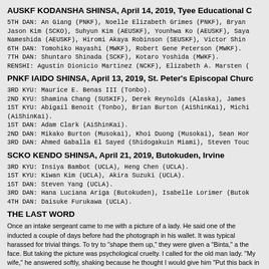AUSKF KODANSHA SHINSA, April 14, 2019, Tyee Educational C
5TH DAN: An Giang (PNKF), Noelle Elizabeth Grimes (PNKF), Bryan Jason Kim (SCKO), Suhyun Kim (AEUSKF), Younhwa Ko (AEUSKF), Saya Nameshida (AEUSKF), Hiromi Akaya Robinson (SEUSKF), Victor Shin
6TH DAN: Tomohiko Hayashi (MWKF), Robert Gene Peterson (MWKF).
7TH DAN: Shuntaro Shinada (SCKF), Kotaro Yoshida (MWKF).
RENSHI: Agustin Dionicio Martinez (NCKF), Elizabeth A. Marsten (
PNKF IAIDO SHINSA, April 13, 2019, St. Peter's Episcopal Churc
3RD KYU: Maurice E. Benas III (Tonbo).
2ND KYU: Shamina Chang (SUSKIF), Derek Reynolds (Alaska), James
1ST KYU: Abigail Benoit (Tonbo), Brian Burton (AiShinKai), Michi (AiShinKai).
1ST DAN: Adam Clark (AiShinKai).
2ND DAN: Mikako Burton (Musokai), Khoi Duong (Musokai), Sean Hor
3RD DAN: Ahmed Gaballa El Sayed (Shidogakuin Miami), Steven Touc
SCKO KENDO SHINSA, April 21, 2019, Butokuden, Irvine
3RD KYU: Insiya Bambot (UCLA), Heng Chen (UCLA).
1ST KYU: Kiwan Kim (UCLA), Akira Suzuki (UCLA).
1ST DAN: Steven Yang (UCLA).
3RD DAN: Hana Luciana Ariga (Butokuden), Isabelle Lorimer (Butok
4TH DAN: Daisuke Furukawa (UCLA).
THE LAST WORD
Once an intake sergeant came to me with a picture of a lady. He said one of the inducted a couple of days before had the photograph in his wallet. It was typical harassed for trivial things. To try to "shape them up," they were given a "Binta," a the face. But taking the picture was psychological cruelty. I called for the old man lady. "My wife," he answered softly, shaking because he thought I would give him "Put this back in your wallet and go back to your bunk." Then I called the soldier the hi h d h h ld hi "d h "